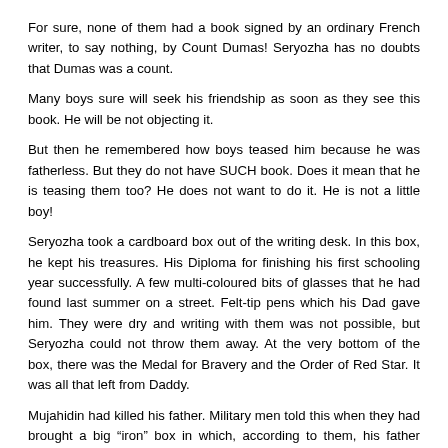For sure, none of them had a book signed by an ordinary French writer, to say nothing, by Count Dumas! Seryozha has no doubts that Dumas was a count.
Many boys sure will seek his friendship as soon as they see this book. He will be not objecting it.
But then he remembered how boys teased him because he was fatherless. But they do not have SUCH book. Does it mean that he is teasing them too? He does not want to do it. He is not a little boy!
Seryozha took a cardboard box out of the writing desk. In this box, he kept his treasures. His Diploma for finishing his first schooling year successfully. A few multi-coloured bits of glasses that he had found last summer on a street. Felt-tip pens which his Dad gave him. They were dry and writing with them was not possible, but Seryozha could not throw them away. At the very bottom of the box, there was the Medal for Bravery and the Order of Red Star. It was all that left from Daddy.
Mujahidin had killed his father. Military men told this when they had brought a big “iron” box in which, according to them, his father was. It was difficult to believe. But when his mother began to cry violently as never before, he believed. He believed that something bad had happened. But also he believed that in few days Daddy definitely will return home. And then he would tell to doctors how confused they were because he is, his father is actually alive.